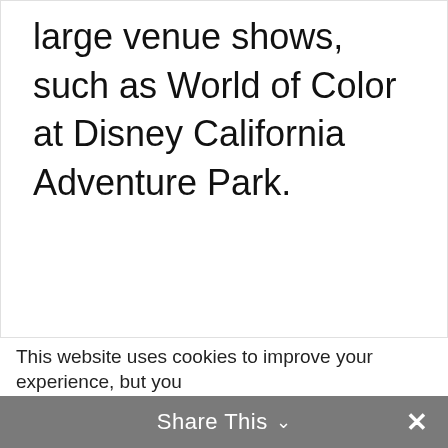large venue shows, such as World of Color at Disney California Adventure Park.
This website uses cookies to improve your experience, but you
Share This ∨